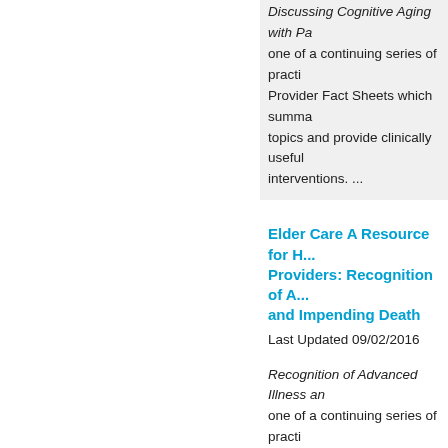Discussing Cognitive Aging with Pa... one of a continuing series of practi... Provider Fact Sheets which summa... topics and provide clinically useful ... interventions. ...
Elder Care A Resource for H... Providers: Recognition of A... and Impending Death
Last Updated 09/02/2016
Recognition of Advanced Illness an... one of a continuing series of practi... Provider Fact Sheets which summa... topics and provide clinically useful ... interventions. ...
Elder Care A Resource for H... Providers: Multiple Myelom...
Last Updated 04/19/2017
Multiple Myeloma, is one of a conti...